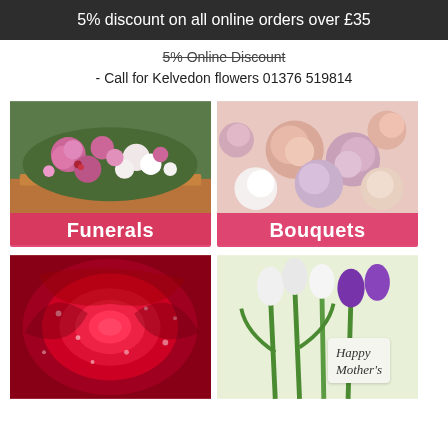5% discount on all online orders over £35
5% Online Discount
- Call for Kelvedon flowers 01376 519814
[Figure (photo): Funeral flower arrangement on a coffin with pink roses and white flowers, labelled Funerals]
[Figure (photo): Close-up of a bouquet of pink, peach and white roses, labelled Bouquets]
[Figure (photo): Close-up of a red rose with water droplets]
[Figure (photo): Bunch of white and purple tulips with a gift tag reading Happy Mother's]